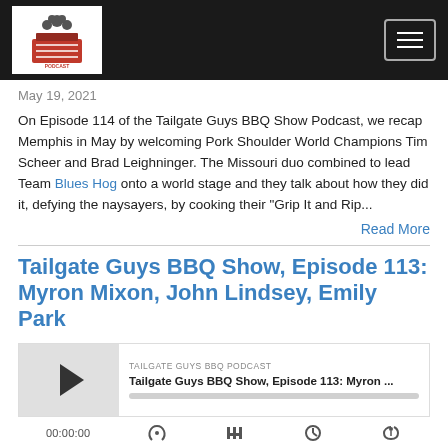Tailgate Guys BBQ Show Podcast - Navigation bar with logo and hamburger menu
May 19, 2021
On Episode 114 of the Tailgate Guys BBQ Show Podcast, we recap Memphis in May by welcoming Pork Shoulder World Champions Tim Scheer and Brad Leighninger. The Missouri duo combined to lead Team Blues Hog onto a world stage and they talk about how they did it, defying the naysayers, by cooking their "Grip It and Rip...
Read More
Tailgate Guys BBQ Show, Episode 113: Myron Mixon, John Lindsey, Emily Park
[Figure (screenshot): Podcast player widget showing TAILGATE GUYS BBQ PODCAST label, episode title 'Tailgate Guys BBQ Show, Episode 113: Myron ...' with play button and progress bar]